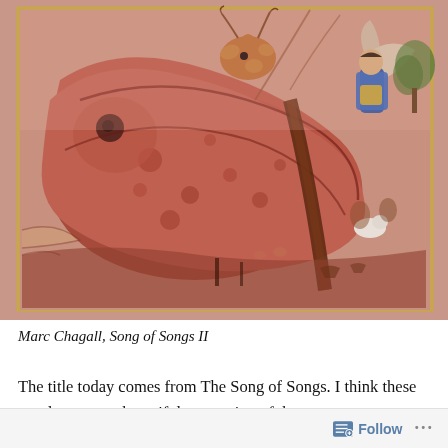[Figure (illustration): Marc Chagall painting 'Song of Songs II' — expressionist scene with a large reclining figure/animal form in reddish-brown tones dominating the center-left, a brown deer/goat head visible at top center, a blue-robed angelic figure with spread wings at upper right, a white animal and small figures in the middle-right background, and a landscape with muted pinks and earth tones throughout. Framed with a thin gold border.]
Marc Chagall, Song of Songs II
The title today comes from The Song of Songs. I think these words are are a beautiful expression of the power